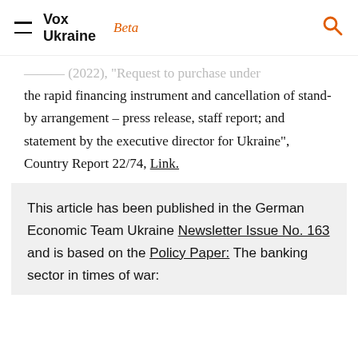Vox Ukraine Beta
the rapid financing instrument and cancellation of stand-by arrangement – press release, staff report; and statement by the executive director for Ukraine", Country Report 22/74, Link.
This article has been published in the German Economic Team Ukraine Newsletter Issue No. 163 and is based on the Policy Paper: The banking sector in times of war: